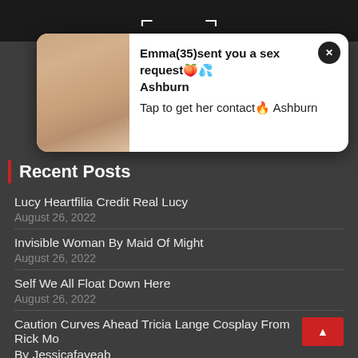[Figure (screenshot): Mobile website screenshot with popup notification and recent posts list on dark background]
Emma(35)sent you a sex request🍑💦 Ashburn
Tap to get her contact🔥 Ashburn
Recent Posts
Lucy Heartfilia Credit Real Lucy
August 26, 2022
Invisible Woman By Maid Of Might
August 26, 2022
Self We All Float Down Here
August 26, 2022
Caution Curves Ahead Tricia Lange Cosplay From Rick Mo... By Jessicafayeab
August 26, 2022
Hope Everyone Is Having A Great Easter